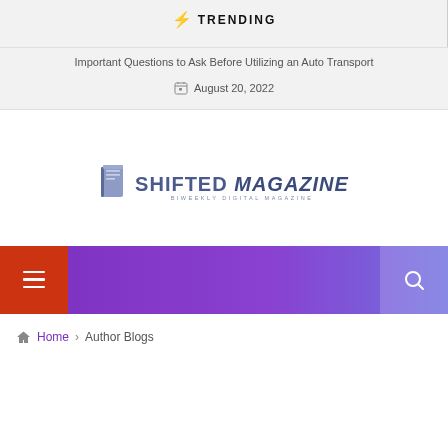⚡ TRENDING
Important Questions to Ask Before Utilizing an Auto Transport
August 20, 2022
[Figure (logo): Shifted Magazine logo with book icon and tagline 'Biweekly Digital Magazine']
[Figure (infographic): Purple navigation bar with red hamburger menu button on left and search icon on right]
Home › Author Blogs